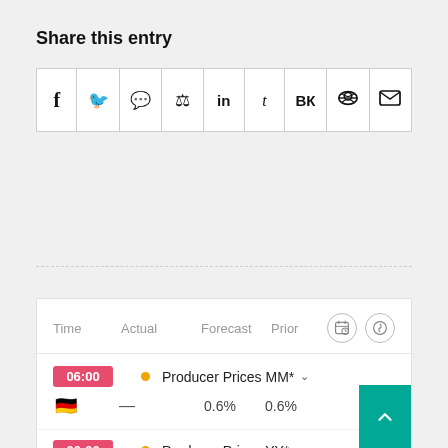Share this entry
[Figure (infographic): Share buttons row with social media icons: Facebook (f), Twitter (bird), WhatsApp (chat bubble), Pinterest (pin), LinkedIn (in), Tumblr (t), VK (VK), Reddit (alien), Email (envelope). Displayed in a horizontal row of bordered boxes.]
| Time | Actual | Forecast | Prior |
| --- | --- | --- | --- |
| 06:00 | — | 0.6% | 0.6% |
| 06:00 |  |  |  |
Producer Prices MM*
Producer Prices YY*